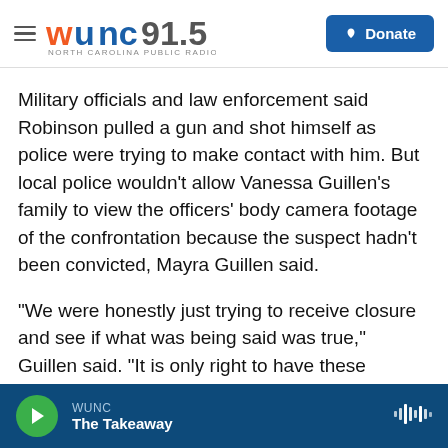WUNC 91.5 North Carolina Public Radio — Donate
Military officials and law enforcement said Robinson pulled a gun and shot himself as police were trying to make contact with him. But local police wouldn't allow Vanessa Guillen's family to view the officers' body camera footage of the confrontation because the suspect hadn't been convicted, Mayra Guillen said.
"We were honestly just trying to receive closure and see if what was being said was true," Guillen said. "It is only right to have these records be public to some extent. It is so hard to tell whether there will be justice or not."
WUNC — The Takeaway